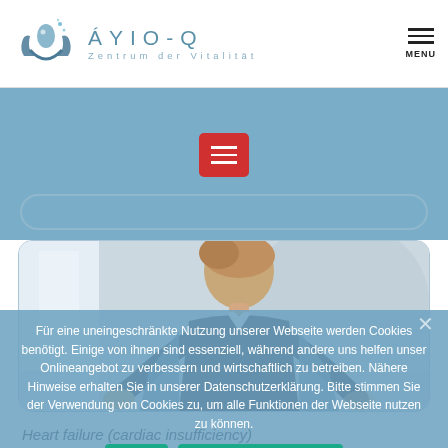ÁYIO-Q Zentrum der Vitalität
[Figure (screenshot): Website screenshot of ÁYIO-Q Zentrum der Vitalität with blue banner, red menu button, photo of woman bending forward, and cookie consent overlay with OK and Datenschutzerklärung buttons]
Für eine uneingeschränkte Nutzung unserer Webseite werden Cookies benötigt. Einige von ihnen sind essenziell, während andere uns helfen unser Onlineangebot zu verbessern und wirtschaftlich zu betreiben. Nähere Hinweise erhalten Sie in unserer Datenschutzerklärung. Bitte stimmen Sie der Verwendung von Cookies zu, um alle Funktionen der Webseite nutzen zu können.
Heart failure (cardiac insufficiency)